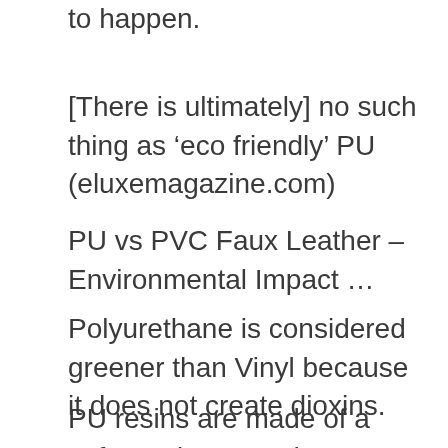to happen.
[There is ultimately] no such thing as ‘eco friendly’ PU (eluxemagazine.com)
PU vs PVC Faux Leather – Environmental Impact …
Polyurethane is considered greener than Vinyl because it does not create dioxins.
PU resins are made of a softer polymer and